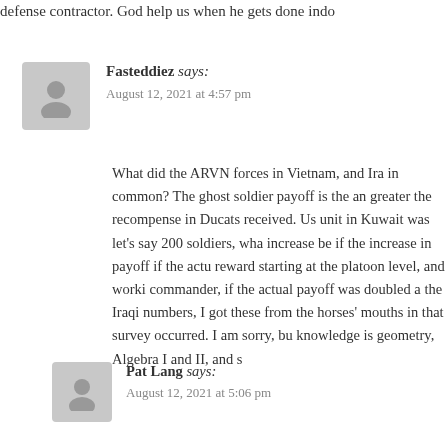defense contractor. God help us when he gets done indo...
Fasteddiez says:
August 12, 2021 at 4:57 pm
What did the ARVN forces in Vietnam, and Ira in common? The ghost soldier payoff is the an greater the recompense in Ducats received. Us unit in Kuwait was let’s say 200 soldiers, wha increase be if the increase in payoff if the actu reward starting at the platoon level, and worki commander, if the actual payoff was doubled a the Iraqi numbers, I got these from the horses’ mouths in that survey occurred. I am sorry, bu knowledge is geometry, Algebra I and II, and s
Pat Lang says:
August 12, 2021 at 5:06 pm